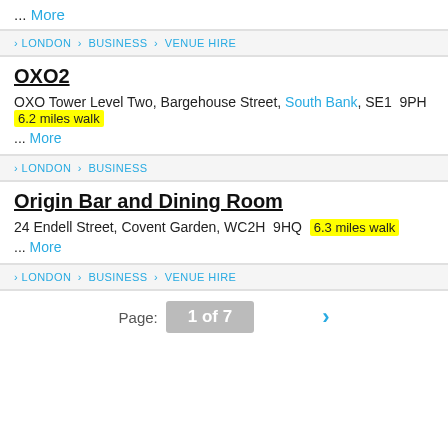... More
LONDON > BUSINESS > VENUE HIRE
OXO2
OXO Tower Level Two, Bargehouse Street, South Bank, SE1 9PH  6.2 miles walk
... More
LONDON > BUSINESS
Origin Bar and Dining Room
24 Endell Street, Covent Garden, WC2H 9HQ  6.3 miles walk
... More
LONDON > BUSINESS > VENUE HIRE
Page: 1 of 7